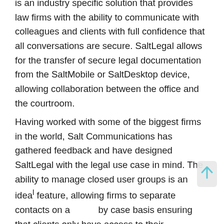is an industry specific solution that provides law firms with the ability to communicate with colleagues and clients with full confidence that all conversations are secure. SaltLegal allows for the transfer of secure legal documentation from the SaltMobile or SaltDesktop device, allowing collaboration between the office and the courtroom.
Having worked with some of the biggest firms in the world, Salt Communications has gathered feedback and have designed SaltLegal with the legal use case in mind. The ability to manage closed user groups is an ideal feature, allowing firms to separate contacts on a by case basis ensuring that clients only have access to their designated lawyer and not the full portfolio of company lawyers. It also ensures that personal phone contacts are not synced to the Salt Communications contact list, ensuring that communications remain professional and